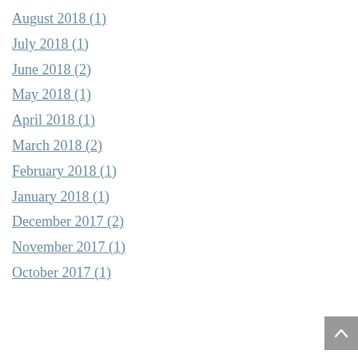August 2018 (1)
July 2018 (1)
June 2018 (2)
May 2018 (1)
April 2018 (1)
March 2018 (2)
February 2018 (1)
January 2018 (1)
December 2017 (2)
November 2017 (1)
October 2017 (1)